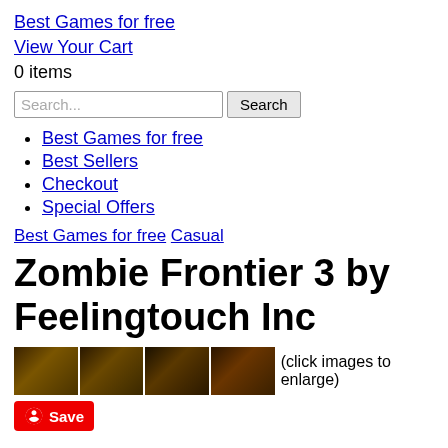Best Games for free
View Your Cart
0 items
Search...  Search
Best Games for free
Best Sellers
Checkout
Special Offers
Best Games for free  Casual
Zombie Frontier 3 by Feelingtouch Inc
[Figure (photo): Four thumbnail screenshots of Zombie Frontier 3 game with label (click images to enlarge)]
Save